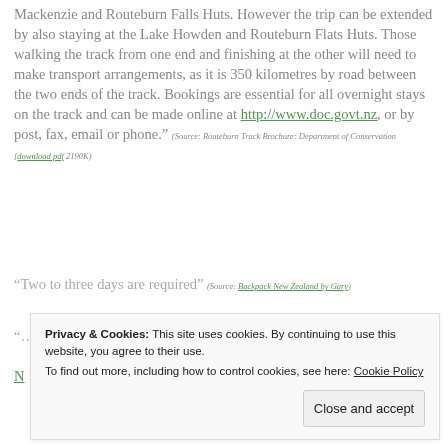Mackenzie and Routeburn Falls Huts. However the trip can be extended by also staying at the Lake Howden and Routeburn Flats Huts. Those walking the track from one end and finishing at the other will need to make transport arrangements, as it is 350 kilometres by road between the two ends of the track. Bookings are essential for all overnight stays on the track and can be made online at http://www.doc.govt.nz, or by post, fax, email or phone." (Source: Routeburn Track Brochure: Department of Conservation [download pdf 2190K)
"Two to three days are required" (Source: Backpack New Zealand by Gary)
"….. Three days, two nights …" (Source: Backpack New Zealand)
Privacy & Cookies: This site uses cookies. By continuing to use this website, you agree to their use. To find out more, including how to control cookies, see here: Cookie Policy